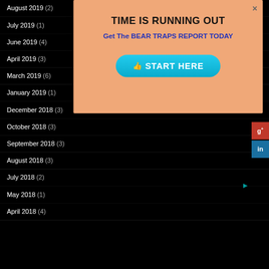August 2019 (2)
July 2019 (1)
June 2019 (4)
April 2019 (3)
March 2019 (6)
January 2019 (1)
December 2018 (3)
October 2018 (3)
September 2018 (3)
August 2018 (3)
July 2018 (2)
May 2018 (1)
April 2018 (4)
[Figure (screenshot): Modal popup with salmon/peach background. Title: TIME IS RUNNING OUT. Subtitle in blue: Get The BEAR TRAPS REPORT TODAY. Teal rounded button: START HERE with thumbs up icon. Close X in upper right.]